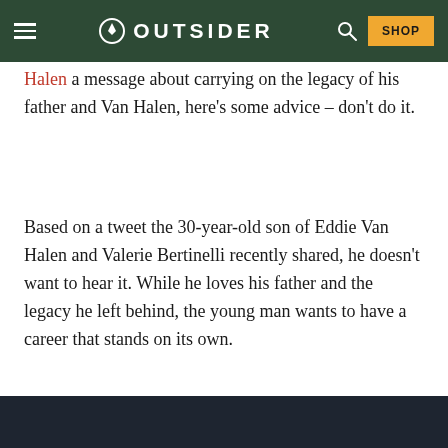OUTSIDER
Halen a message about carrying on the legacy of his father and Van Halen, here's some advice – don't do it.
Based on a tweet the 30-year-old son of Eddie Van Halen and Valerie Bertinelli recently shared, he doesn't want to hear it. While he loves his father and the legacy he left behind, the young man wants to have a career that stands on its own.